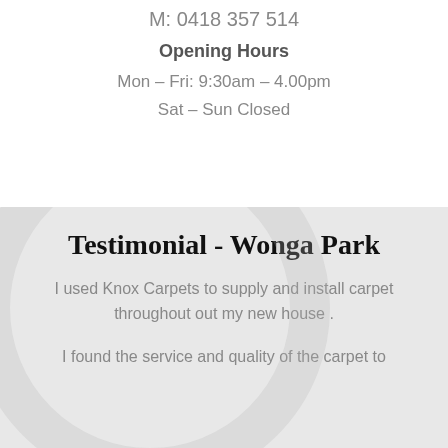M: 0418 357 514
Opening Hours
Mon – Fri: 9:30am – 4.00pm
Sat – Sun Closed
Testimonial - Wonga Park
I used Knox Carpets to supply and install carpet throughout out my new house .
I found the service and quality of the carpet to